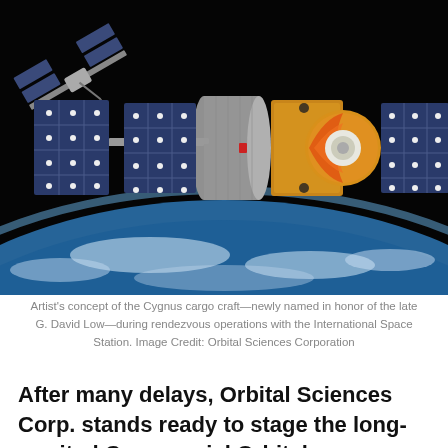[Figure (illustration): Artist's concept rendering of the Cygnus cargo spacecraft with large blue solar panels extended and a gold-colored service module with circular dish, shown in orbit above Earth with the International Space Station visible in the upper left background against a black space background.]
Artist's concept of the Cygnus cargo craft—newly named in honor of the late G. David Low—during rendezvous operations with the International Space Station. Image Credit: Orbital Sciences Corporation
After many delays, Orbital Sciences Corp. stands ready to stage the long-awaited Commercial Orbital